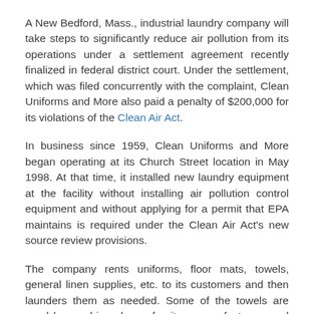A New Bedford, Mass., industrial laundry company will take steps to significantly reduce air pollution from its operations under a settlement agreement recently finalized in federal district court. Under the settlement, which was filed concurrently with the complaint, Clean Uniforms and More also paid a penalty of $200,000 for its violations of the Clean Air Act.
In business since 1959, Clean Uniforms and More began operating at its Church Street location in May 1998. At that time, it installed new laundry equipment at the facility without installing air pollution control equipment and without applying for a permit that EPA maintains is required under the Clean Air Act's new source review provisions.
The company rents uniforms, floor mats, towels, general linen supplies, etc. to its customers and then launders them as needed. Some of the towels are used by machine shops, furniture manufacturers and printing companies. When the dirty shop, furniture, and print towels are returned for laundering, they often contain volatile organic compounds (VOCs). These